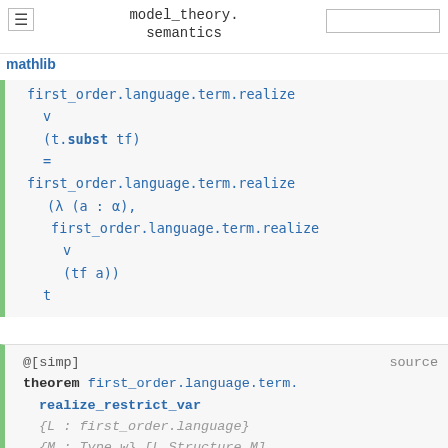model_theory. semantics
first_order.language.term.realize
 v
 (t.subst tf)
 =
 first_order.language.term.realize
  (λ (a : α),
   first_order.language.term.realize
    v
    (tf a))
  t
@[simp]   source
theorem first_order.language.term.realize_restrict_var
 {L : first_order.language}
 {M : Type w} [L.Structure M]
 {α : Type u'} [decidable_eq α]